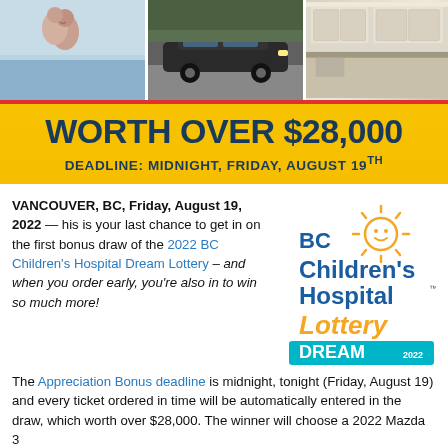[Figure (photo): Three panel banner image: happy couple on left, dark Mazda car in center, modern kitchen on right]
WORTH OVER $28,000
DEADLINE: MIDNIGHT, FRIDAY, AUGUST 19TH
VANCOUVER, BC, Friday, August 19, 2022 — his is your last chance to get in on the first bonus draw of the 2022 BC Children's Hospital Dream Lottery – and when you order early, you're also in to win so much more!
[Figure (logo): BC Children's Hospital Lottery DREAM 2022 logo with sun icon]
The Appreciation Bonus deadline is midnight, tonight (Friday, August 19) and every ticket ordered in time will be automatically entered in the draw, which worth over $28,000. The winner will choose a 2022 Mazda 3